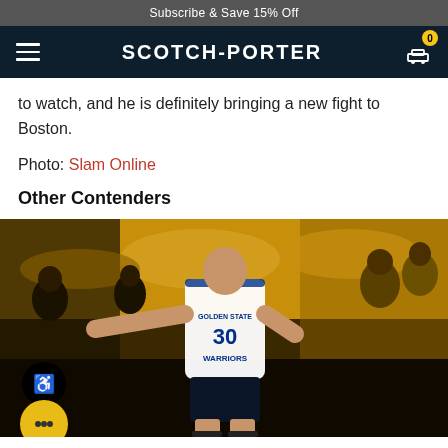Subscribe & Save 15% Off
SCOTCH-PORTER
to watch, and he is definitely bringing a new fight to Boston.
Photo: Slam Online
Other Contenders
[Figure (photo): Basketball player wearing Golden State Warriors #30 jersey pointing, crowd in background wearing yellow and blue.]
While our top three picks up top have been doing their